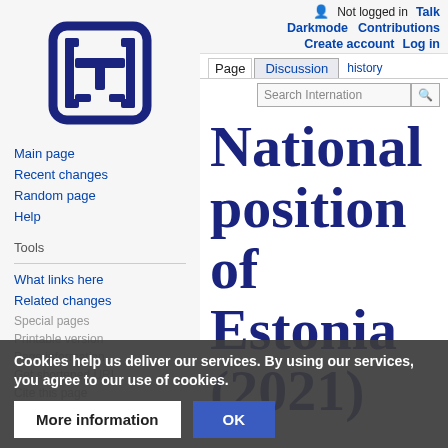[Figure (logo): Wikipedia-style ITI logo: square bracket and T symbol in dark navy blue on light background]
Main page
Recent changes
Random page
Help
Tools
What links here
Related changes
Special pages
Printable version
Page information
Get shortened URL
Cite this page
Not logged in  Talk  Darkmode  Contributions  Create account  Log in
Page  Discussion  history  Search International
National position of Estonia (2021)
Cookies help us deliver our services. By using our services, you agree to our use of cookies.
More information  OK